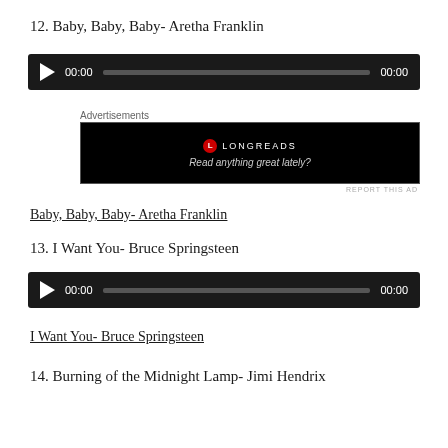12. Baby, Baby, Baby- Aretha Franklin
[Figure (other): Audio player for Baby, Baby, Baby by Aretha Franklin showing play button, 00:00 time stamp, progress bar, and 00:00 duration]
Advertisements
[Figure (other): Longreads advertisement with logo and tagline: Read anything great lately?]
REPORT THIS AD
Baby, Baby, Baby- Aretha Franklin
13. I Want You- Bruce Springsteen
[Figure (other): Audio player for I Want You by Bruce Springsteen showing play button, 00:00 time stamp, progress bar, and 00:00 duration]
I Want You- Bruce Springsteen
14. Burning of the Midnight Lamp- Jimi Hendrix